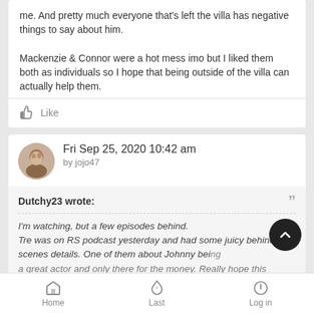me. And pretty much everyone that's left the villa has negative things to say about him.
Mackenzie & Connor were a hot mess imo but I liked them both as individuals so I hope that being outside of the villa can actually help them.
Like
Fri Sep 25, 2020 10:42 am
by jojo47
Dutchy23 wrote:
I'm watching, but a few episodes behind.
Tre was on RS podcast yesterday and had some juicy behind the scenes details. One of them about Johnny being a great actor and only there for the money. Really hope this
Home  Last  Log in